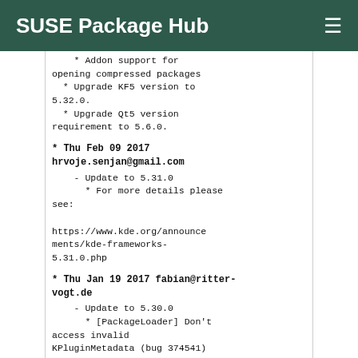SUSE Package Hub
* Addon support for
opening compressed packages
  * Upgrade KF5 version to
5.32.0.
  * Upgrade Qt5 version
requirement to 5.6.0.
* Thu Feb 09 2017
hrvoje.senjan@gmail.com
    - Update to 5.31.0
      * For more details please
see:

https://www.kde.org/announcements/kde-frameworks-5.31.0.php
* Thu Jan 19 2017 fabian@ritter-vogt.de
    - Update to 5.30.0
      * [PackageLoader] Don't
access invalid
KPluginMetadata (bug 374541)
      * fix description for
option -t in man page
      * Improve error message
      * Fix the help message for
--type
      * Improve installation
process of KPackage bundles
      * Install a kpackage-
generic.desktop file
      * Exclude qmlc files from